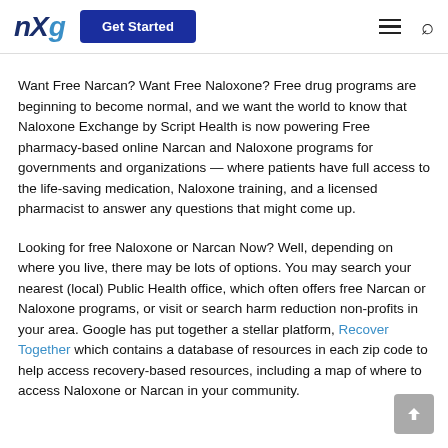nXg | Get Started
Want Free Narcan? Want Free Naloxone? Free drug programs are beginning to become normal, and we want the world to know that Naloxone Exchange by Script Health is now powering Free pharmacy-based online Narcan and Naloxone programs for governments and organizations — where patients have full access to the life-saving medication, Naloxone training, and a licensed pharmacist to answer any questions that might come up.
Looking for free Naloxone or Narcan Now? Well, depending on where you live, there may be lots of options. You may search your nearest (local) Public Health office, which often offers free Narcan or Naloxone programs, or visit or search harm reduction non-profits in your area. Google has put together a stellar platform, Recover Together which contains a database of resources in each zip code to help access recovery-based resources, including a map of where to access Naloxone or Narcan in your community.